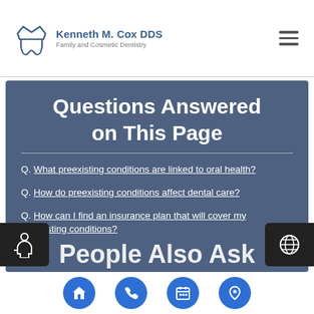Kenneth M. Cox DDS Family and Cosmetic Dentistry
Questions Answered on This Page
Q. What preexisting conditions are linked to oral health?
Q. How do preexisting conditions affect dental care?
Q. How can I find an insurance plan that will cover my preexisting conditions?
People Also Ask
Home | Phone | Calendar | Location